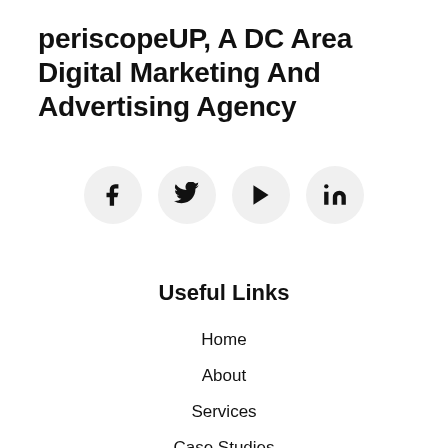periscopeUP, A DC Area Digital Marketing And Advertising Agency
[Figure (infographic): Four social media icon buttons in light gray circles: Facebook (f), Twitter (bird), YouTube (play button), LinkedIn (in)]
Useful Links
Home
About
Services
Case Studies
Blog